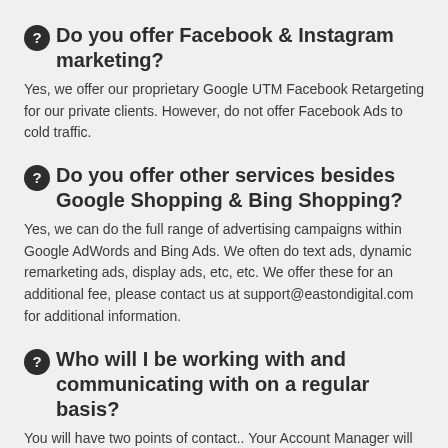❓ Do you offer Facebook & Instagram marketing?
Yes, we offer our proprietary Google UTM Facebook Retargeting for our private clients. However, do not offer Facebook Ads to cold traffic.
❓ Do you offer other services besides Google Shopping & Bing Shopping?
Yes, we can do the full range of advertising campaigns within Google AdWords and Bing Ads. We often do text ads, dynamic remarketing ads, display ads, etc, etc. We offer these for an additional fee, please contact us at support@eastondigital.com for additional information.
❓ Who will I be working with and communicating with on a regular basis?
You will have two points of contact.. Your Account Manager will be the main point of contact for reporting, performance, account